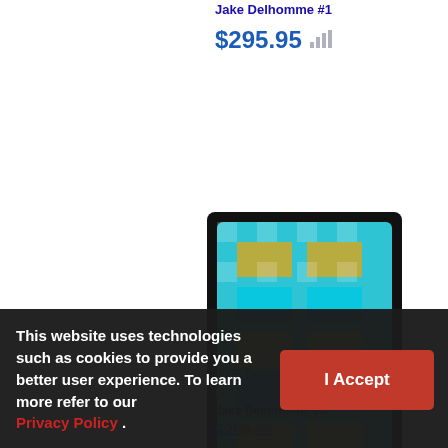Jake Delhomme #1
$295.95
[Figure (photo): 2005 Donruss Zenith football trading card with teal/gold patch materials, featuring Jake Delhomme]
2005 Donruss Zenith
Materials Prime [Me
Jake Delhomme, Ju
$295.95
This website uses technologies such as cookies to provide you a better user experience. To learn more refer to our Privacy Policy .
I Accept